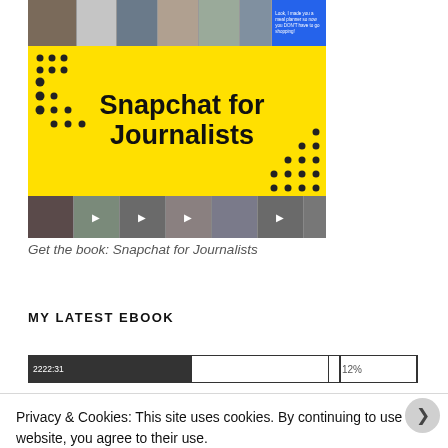[Figure (photo): Book cover for 'Snapchat for Journalists' — yellow banner with bold black text, dot decorations, photo strips of people and video thumbnails on top and bottom]
Get the book: Snapchat for Journalists
MY LATEST EBOOK
[Figure (other): Progress/reading bar showing position 2222:31 with 12% indicator]
Privacy & Cookies: This site uses cookies. By continuing to use this website, you agree to their use.
To find out more, including how to control cookies, see here: Cookie Policy
Close and accept